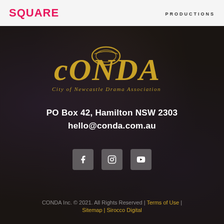[Figure (logo): SQUARE logo in pink/red bold uppercase text on light grey header bar]
[Figure (logo): PRODUCTIONS text in dark grey small caps on light grey header bar, right side]
[Figure (logo): CONDA - City of Newcastle Drama Association gold italic logo with decorative ring around the O, on dark textured background]
PO Box 42, Hamilton NSW 2303
hello@conda.com.au
[Figure (infographic): Three social media icon buttons (grey rounded squares) with white icons - Facebook, Instagram, YouTube or similar]
CONDA Inc. © 2021. All Rights Reserved | Terms of Use | Sitemap | Sirocco Digital